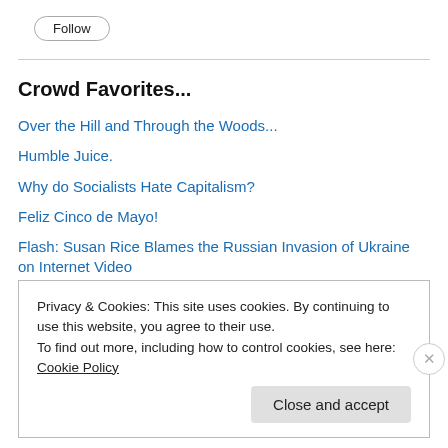[Figure (other): Follow button - rounded rectangle button with 'Follow' text]
Crowd Favorites...
Over the Hill and Through the Woods...
Humble Juice.
Why do Socialists Hate Capitalism?
Feliz Cinco de Mayo!
Flash: Susan Rice Blames the Russian Invasion of Ukraine on Internet Video
A small tradition...
If Not Now, When?
Privacy & Cookies: This site uses cookies. By continuing to use this website, you agree to their use.
To find out more, including how to control cookies, see here: Cookie Policy
Close and accept